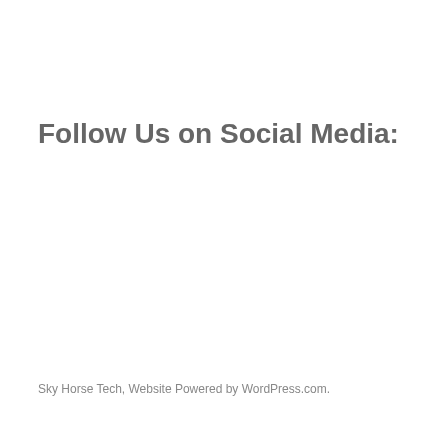Follow Us on Social Media:
Sky Horse Tech, Website Powered by WordPress.com.